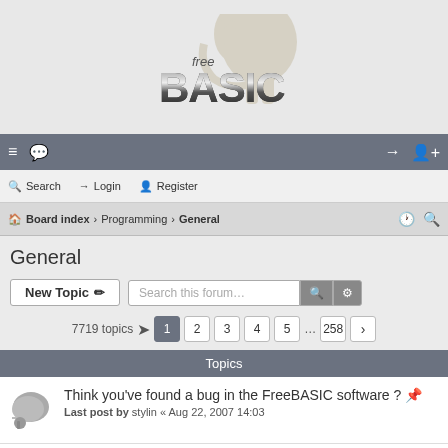[Figure (logo): FreeBASIC logo with a horse silhouette and bold BASIC text]
Navigation bar with menu, chat icons, login and register icons
Search   Login   Register
Board index › Programming › General
General
New Topic   Search this forum...   7719 topics   1 2 3 4 5 ... 258 ›
Topics
Think you've found a bug in the FreeBASIC software ? 📌
Last post by stylin « Aug 22, 2007 14:03
Nesting TYPE (temporary) keyword does not support multi-level inheritance structure
Last post by fxm « Aug 26, 2022 8:10